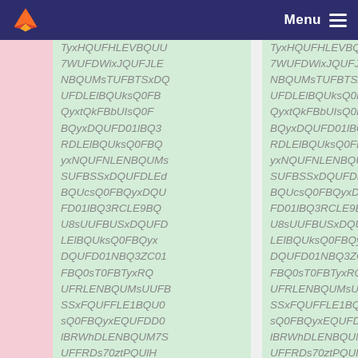GitLab menu header with fox logo and Menu button
TyxHQUFHLEVBQUU
7WUFDWixJQUFJLE
NBQUMsTUFBTSxDQ
UFDLElBQUksQ0FB
QyxtQkFBbUIsQ0F
BQyxDQUFD01lBQ3
RDLElBQUksQ0FBQ
yxNQUFNLENBQUMs
SUFBSSxDQUFDLEd
BQUcsQ0FBQyxDQU
FD01lBQ3RCLE9BQ
U8sUUFBUSxDQUFD
LElBQUksQ0FBQyx
DQUFD01NBQ3ZC01
FBQ0sT0FBTyxRQ
UFRLENBQUMsUUFB
SSxFQUFFLE1BQU0
sQ0FBQyxEQUFDD0
lBRWhDLENBQUM7S
UFFRDs70ztPQUlH
TyxHQUFHLEVBQUU
7WUFDWixJQUFJLE
NBQUMsTUFBTSxDQ
UFDLElBQUksQ0FB
QyxtQkFBbUIsQ0F
BQyxDQUFD01lBQ3
RDLElBQUksQ0FBQ
yxNQUFNLENBQUMs
SUFBSSxDQUFDLEd
BQUcsQ0FBQyxDQU
FD01lBQ3RCLE9BQ
U8sUUFBUSxDQUFD
LElBQUksQ0FBQyx
DQUFD01NBQ3ZB01
FBQ0sT0FBTyxRQ
UFRLENBQUMsUUFB
SSxFQUFFLE1BQU0
sQ0FBQyxEQUFDD0
lBRWhDLENBQUM7S
UFFRDs70ztPQUlH